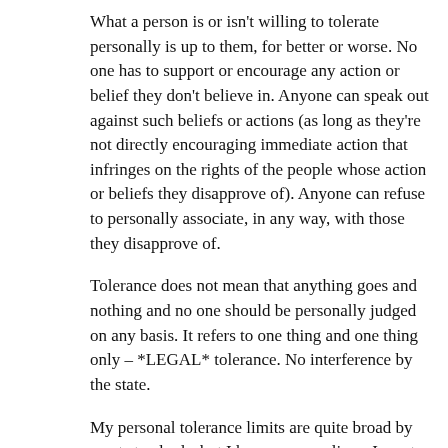What a person is or isn't willing to tolerate personally is up to them, for better or worse. No one has to support or encourage any action or belief they don't believe in. Anyone can speak out against such beliefs or actions (as long as they're not directly encouraging immediate action that infringes on the rights of the people whose action or beliefs they disapprove of). Anyone can refuse to personally associate, in any way, with those they disapprove of.
Tolerance does not mean that anything goes and nothing and no one should be personally judged on any basis. It refers to one thing and one thing only – *LEGAL* tolerance. No interference by the state.
My personal tolerance limits are quite broad by most standards, but I have my own lines. I want nothing to do with people who think they should be able to tell other people how to live and think and feel. I want nothing to do with people whose lives are consumed with hatred and anger. I want nothing to do with people who think they should be able to live at the expense of others.